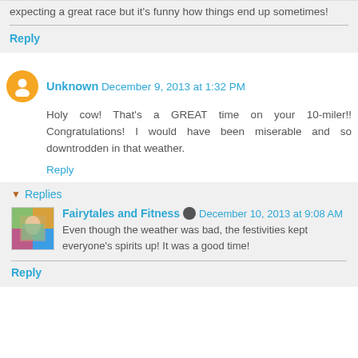expecting a great race but it's funny how things end up sometimes!
Reply
Unknown December 9, 2013 at 1:32 PM
Holy cow! That's a GREAT time on your 10-miler!! Congratulations! I would have been miserable and so downtrodden in that weather.
Reply
Replies
Fairytales and Fitness December 10, 2013 at 9:08 AM
Even though the weather was bad, the festivities kept everyone's spirits up! It was a good time!
Reply